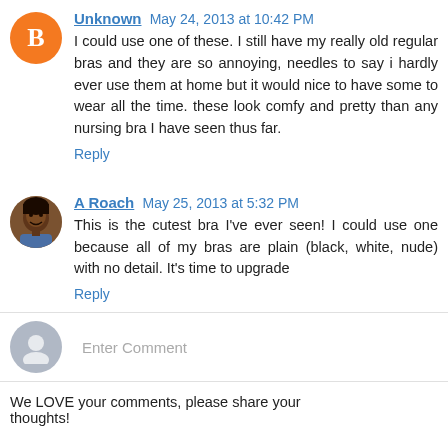Unknown May 24, 2013 at 10:42 PM
I could use one of these. I still have my really old regular bras and they are so annoying, needles to say i hardly ever use them at home but it would nice to have some to wear all the time. these look comfy and pretty than any nursing bra I have seen thus far.
Reply
A Roach May 25, 2013 at 5:32 PM
This is the cutest bra I've ever seen! I could use one because all of my bras are plain (black, white, nude) with no detail. It's time to upgrade
Reply
Enter Comment
We LOVE your comments, please share your thoughts!